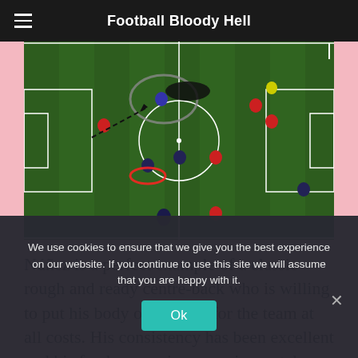Football Bloody Hell
[Figure (screenshot): Football match broadcast screenshot showing players on a green pitch with tactical overlay markings including a circle, dashed arrow, and red circle highlighting player positions]
Núñez is a perfect example of a classic rough and ready centre-back who is willing to put his body on the line for the team at all costs. His consistency has been excellent and his fearlessness in games is crystal clear. He may not have quite the same...
We use cookies to ensure that we give you the best experience on our website. If you continue to use this site we will assume that you are happy with it.